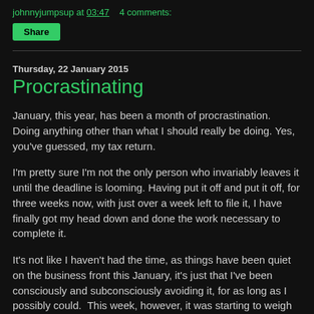johnnyjumpsup at 03:47   4 comments:
Share
Thursday, 22 January 2015
Procrastinating
January, this year, has been a month of procrastination.  Doing anything other than what I should really be doing. Yes, you've guessed, my tax return.
I'm pretty sure I'm not the only person who invariably leaves it until the deadline is looming. Having put it off and put it off, for three weeks now, with just over a week left to file it, I have finally got my head down and done the work necessary to complete it.
It's not like I haven't had the time, as things have been quiet on the business front this January, it's just that I've been consciously and subconsciously avoiding it, for as long as I possibly could.  This week, however, it was starting to weigh